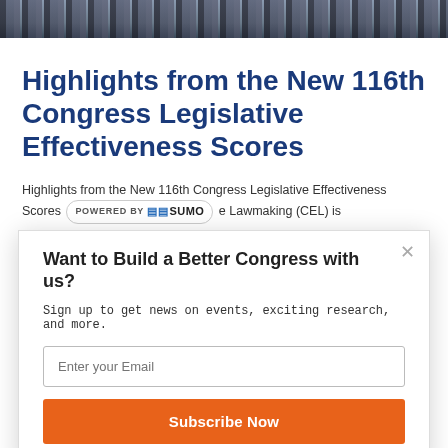[Figure (photo): Group photo of many people (Congress members) standing in rows, cropped at top of page]
Highlights from the New 116th Congress Legislative Effectiveness Scores
Highlights from the New 116th Congress Legislative Effectiveness Scores [POWERED BY SUMO] e Lawmaking (CEL) is
Want to Build a Better Congress with us?
Sign up to get news on events, exciting research, and more.